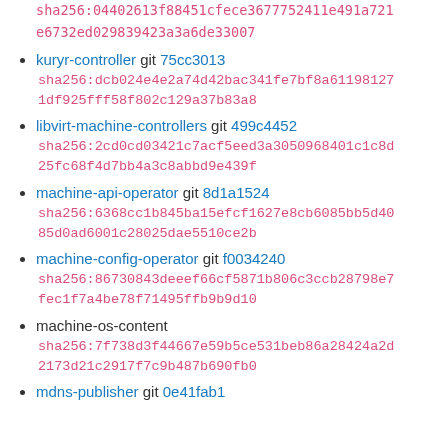kuryr-cni git fc888818
sha256:04402613f88451cfece3677752411e491a721e6732ed029839423a3a6de33007
kuryr-controller git 75cc3013
sha256:dcb024e4e2a74d42bac341fe7bf8a61198127​1df925fff58f802c129a37b83a8
libvirt-machine-controllers git 499c4452
sha256:2cd0cd03421c7acf5eed3a3050968401c1c8d25fc68f4d7bb4a3c8abbd9e439f
machine-api-operator git 8d1a1524
sha256:6368cc1b845ba15efcf1627e8cb6085bb5d4085d0ad6001c28025dae5510ce2b
machine-config-operator git f0034240
sha256:86730843deeef66cf5871b806c3ccb28798e7fec1f7a4be78f71495ffb9b9d10
machine-os-content
sha256:7f738d3f44667e59b5ce531beb86a28424a2d2173d21c2917f7c9b487b690fb0
mdns-publisher git 0e41fab1